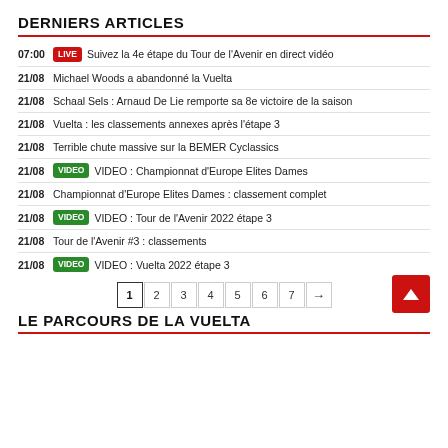DERNIERS ARTICLES
07:00 LIVE Suivez la 4e étape du Tour de l'Avenir en direct vidéo
21/08 Michael Woods a abandonné la Vuelta
21/08 Schaal Sels : Arnaud De Lie remporte sa 8e victoire de la saison
21/08 Vuelta : les classements annexes après l'étape 3
21/08 Terrible chute massive sur la BEMER Cyclassics
21/08 VIDEO VIDEO : Championnat d'Europe Elites Dames
21/08 Championnat d'Europe Elites Dames : classement complet
21/08 VIDEO VIDEO : Tour de l'Avenir 2022 étape 3
21/08 Tour de l'Avenir #3 : classements
21/08 VIDEO VIDEO : Vuelta 2022 étape 3
1 2 3 4 5 6 7 →
LE PARCOURS DE LA VUELTA